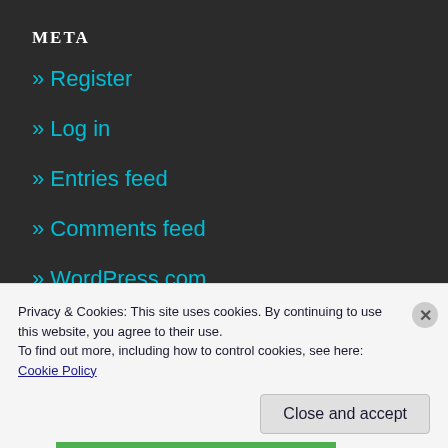META
» Register
» Log in
» Entries feed
» Comments feed
» WordPress.com
Search ...
Privacy & Cookies: This site uses cookies. By continuing to use this website, you agree to their use.
To find out more, including how to control cookies, see here: Cookie Policy
Close and accept